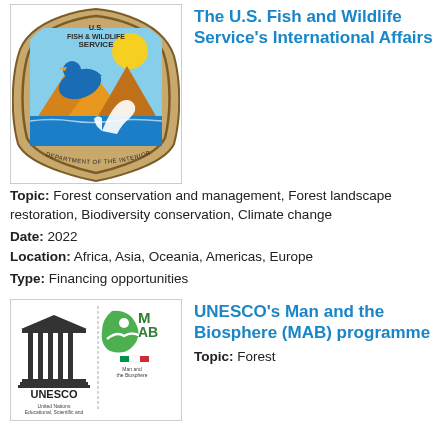[Figure (logo): U.S. Fish & Wildlife Service logo — badge shape with duck and fish, Department of the Interior]
The U.S. Fish and Wildlife Service's International Affairs
Topic: Forest conservation and management, Forest landscape restoration, Biodiversity conservation, Climate change
Date: 2022
Location: Africa, Asia, Oceania, Americas, Europe
Type: Financing opportunities
[Figure (logo): UNESCO and Man and the Biosphere (MAB) programme logo — UNESCO columns logo with MAB leaf logo]
UNESCO's Man and the Biosphere (MAB) programme
Topic: Forest